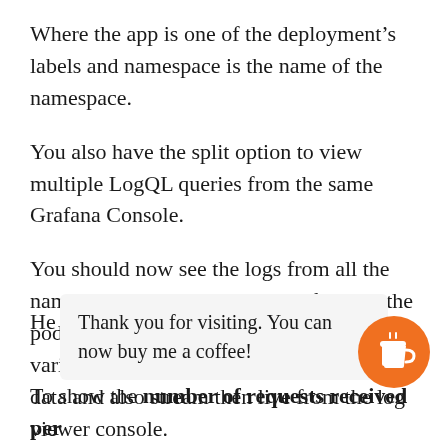Where the app is one of the deployment's labels and namespace is the name of the namespace.
You also have the split option to view multiple LogQL queries from the same Grafana Console.
You should now see the logs from all the namespaces in your cluster and from all the pods within your cluster. You can use various LogQL queries to aggregate the data and also stream then live from the log viewer console.
Thank you for visiting. You can now buy me a coffee!
To show the number of requests received per